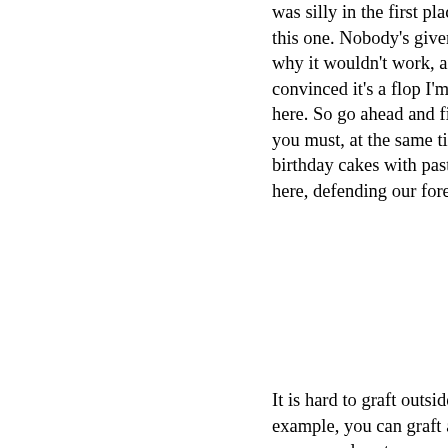was silly in the first place, but I b this one. Nobody's given a good why it wouldn't work, and until I'm convinced it's a flop I'm staying ri here. So go ahead and fishbone you must, at the same time piling birthday cakes with pastry. I'll be here, defending our forests. Viva —Worldgineer, Feb
It is hard to graft outside the fami example, you can graft an apple pear or a plum to a peach but no apple to a peach, much less an a an oak tree. The trees in the rain are very diverse, and while some be able to receive grafts from ap peach trees, the majority of exoti hardwoods would not.
Probably a better idea is to cultiv market for the rare and unusual f which already occur in the rainfo and have people climb the trees them where they are. There are hundreds of edible fruits I have n tasted. Heck, I am told that there dozens of different types of ma